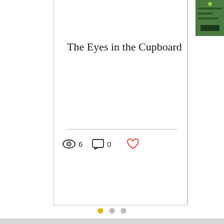The Eyes in the Cupboard
6 views  0 comments  like
[Figure (screenshot): Partial card on right edge showing a green-toned thumbnail image]
[Figure (infographic): Pagination dots: one gold/yellow active dot and two gray inactive dots]
[Figure (map): Light gray map or placeholder area filling the bottom half of the page with a dark gray back-to-top button with an upward chevron arrow]